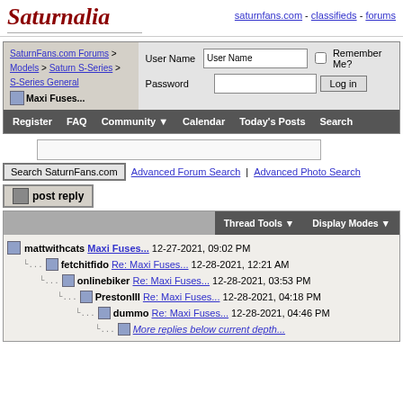[Figure (logo): Saturnalia logo in dark red italic script]
saturnfans.com - classifieds - forums
[Figure (screenshot): Forum navigation bar with breadcrumb: SaturnFans.com Forums > Models > Saturn S-Series > S-Series General > Maxi Fuses..., and login form with User Name, Password fields, Remember Me checkbox, and Log in button]
Register  FAQ  Community  Calendar  Today's Posts  Search
Search SaturnFans.com | Advanced Forum Search | Advanced Photo Search
post reply
Thread Tools  Display Modes
mattwithcats Maxi Fuses... 12-27-2021, 09:02 PM
fetchitfido Re: Maxi Fuses... 12-28-2021, 12:21 AM
onlinebiker Re: Maxi Fuses... 12-28-2021, 03:53 PM
PrestonIII Re: Maxi Fuses... 12-28-2021, 04:18 PM
dummo Re: Maxi Fuses... 12-28-2021, 04:46 PM
More replies below current depth...